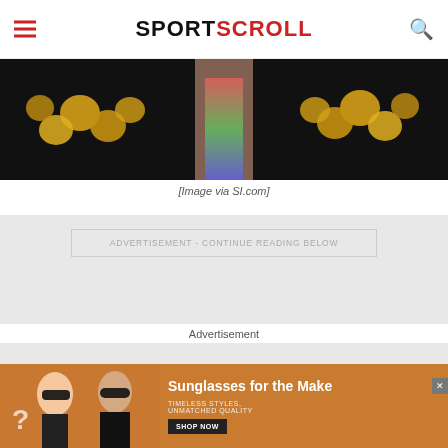SPORTSCROLL
[Figure (photo): Cropped photo of a person wearing a colorful outfit/swimsuit with gold coins/medals visible against a dark background]
[Image via SI.com]
ADVERTISEMENT - CONTINUE READING BELOW
Advertisement
[Figure (photo): Advertisement banner showing two women wearing sunglasses with text 'Sunglasses for the Make', 'TIMELESS STYLES, UNMATCHED QUALITY', and a 'SHOP NOW' button]